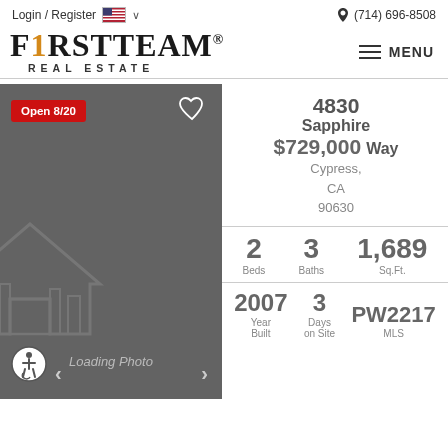Login / Register  🇺🇸  ∨  (714) 696-8508
[Figure (logo): First Team Real Estate logo with golden '1']
MENU
[Figure (photo): Property photo loading placeholder with house watermark graphic. Badge: Open 8/20]
4830 Sapphire Way, Cypress, CA 90630 — $729,000
2 Beds  3 Baths  1,689 Sq.Ft.
2007 Year Built  3 Days on Site  PW2217 MLS